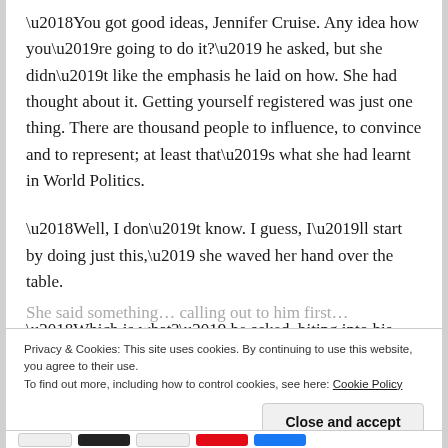‘You got good ideas, Jennifer Cruise. Any idea how you’re going to do it?’ he asked, but she didn’t like the emphasis he laid on how. She had thought about it. Getting yourself registered was just one thing. There are thousand people to influence, to convince and to represent; at least that’s what she had learnt in World Politics.
‘Well, I don’t know. I guess, I’ll start by doing just this,’ she waved her hand over the table.
‘Which is what?’ he asked, biting into his sandwich.
Privacy & Cookies: This site uses cookies. By continuing to use this website, you agree to their use. To find out more, including how to control cookies, see here: Cookie Policy
Close and accept